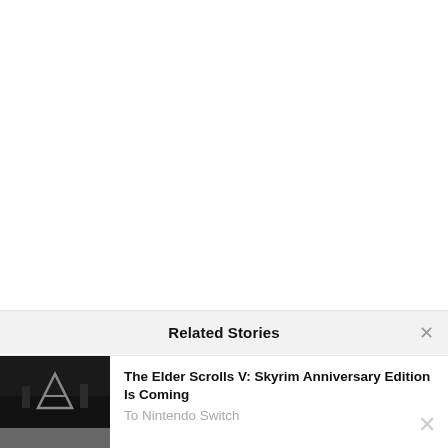Related Stories
The Elder Scrolls V: Skyrim Anniversary Edition Is Coming To Nintendo Switch
[Figure (screenshot): Thumbnail image for The Elder Scrolls V: Skyrim Anniversary Edition article — dark scene showing Skyrim logo/character silhouette]